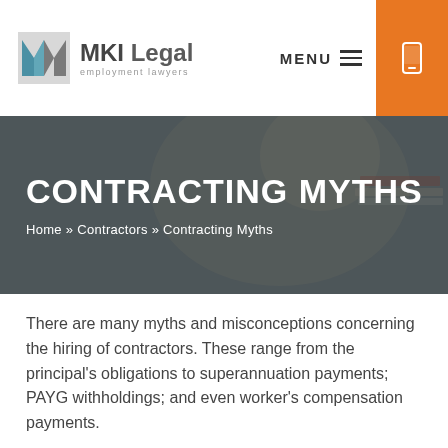MKI Legal - employment lawyers | MENU
[Figure (photo): Woman with glasses reading a document at a desk, with stacked papers and books in the background. Dark overlay applied to image.]
CONTRACTING MYTHS
Home » Contractors » Contracting Myths
There are many myths and misconceptions concerning the hiring of contractors. These range from the principal's obligations to superannuation payments; PAYG withholdings; and even worker's compensation payments.
Entitlements and protections for employees and contractors also greatly differ under the law.
Therefore it is important for employers, principals and...